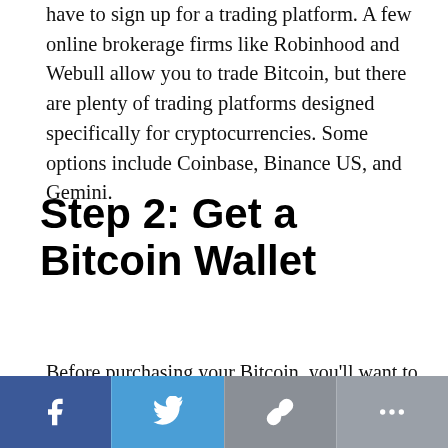have to sign up for a trading platform. A few online brokerage firms like Robinhood and Webull allow you to trade Bitcoin, but there are plenty of trading platforms designed specifically for cryptocurrencies. Some options include Coinbase, Binance US, and Gemini.
Step 2: Get a Bitcoin Wallet
Before purchasing your Bitcoin, you'll want to make sure you have a safe place to store it. One option is to hold your Bitcoin on the exchange or or mobile app where you buy it. You could also use a hardware wallet, which provides an added layer of security.